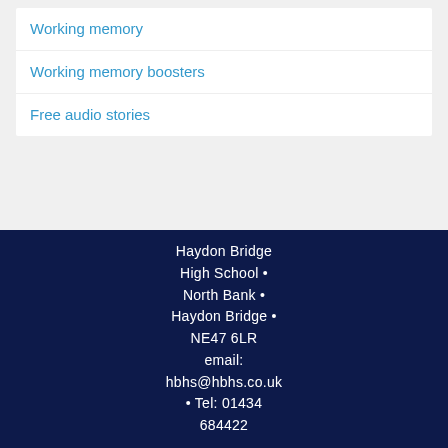Working memory
Working memory boosters
Free audio stories
Haydon Bridge High School • North Bank • Haydon Bridge • NE47 6LR email: hbhs@hbhs.co.uk • Tel: 01434 684422